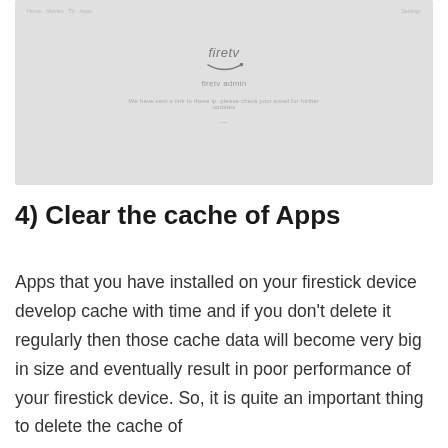[Figure (screenshot): A screenshot of a Fire TV (firetv) device screen with a light gray background showing the firetv logo in the center with text 'firetv admin' and a description line below, along with a small dot/loading indicator.]
4) Clear the cache of Apps
Apps that you have installed on your firestick device develop cache with time and if you don't delete it regularly then those cache data will become very big in size and eventually result in poor performance of your firestick device. So, it is quite an important thing to delete the cache of